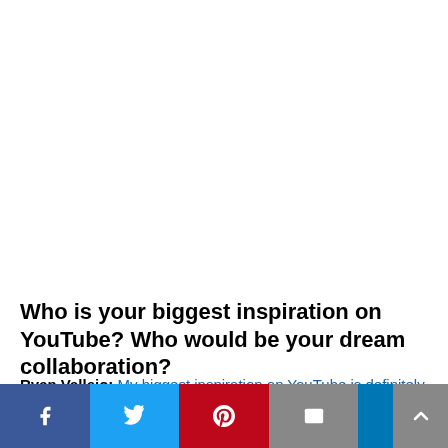Who is your biggest inspiration on YouTube? Who would be your dream collaboration?
Ryan Vallejo: My biggest inspiration on YouTube is definitely JacksFilms. I've been watching him since I found his Snuggie parody, which is probably the funniest video ever on YouTube. I've seen where he … inspired me with what I would be … on YouTube…